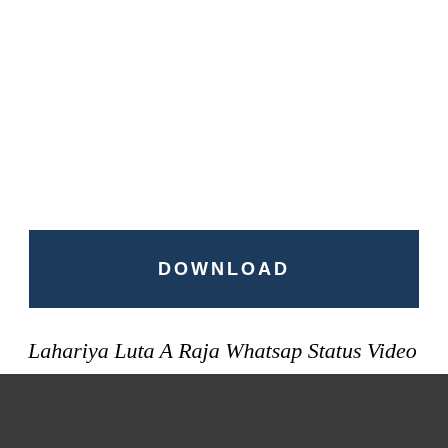[Figure (other): White blank space area at top of page]
[Figure (other): Dark navy blue DOWNLOAD button with white bold uppercase text]
Lahariya Luta A Raja Whatsap Status Video
[Figure (other): Dark gray video player area with scroll-to-top button in bottom right corner]